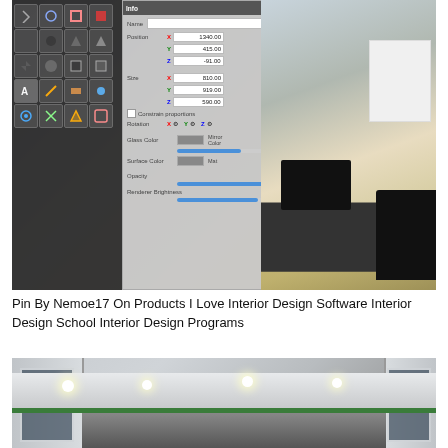[Figure (screenshot): Interior design software screenshot showing a 3D room render (modern living room with dark rug, black sofa, white cabinets, hardwood floor) alongside a tools/properties panel with position, size, rotation, color and opacity controls.]
Pin By Nemoe17 On Products I Love Interior Design Software Interior Design School Interior Design Programs
[Figure (photo): Photo of a modern interior ceiling design with recessed lighting, black trim accent, curved white ceiling panels, and dark walls visible at the edges with windows.]